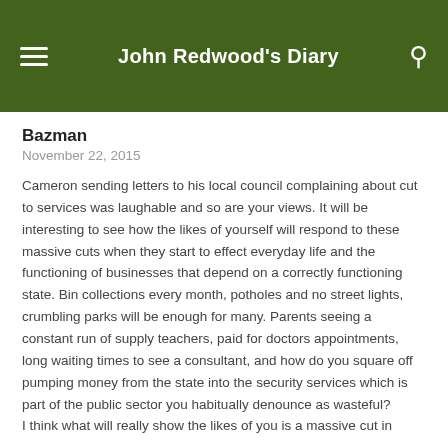John Redwood's Diary
Bazman
November 22, 2015
Cameron sending letters to his local council complaining about cut to services was laughable and so are your views. It will be interesting to see how the likes of yourself will respond to these massive cuts when they start to effect everyday life and the functioning of businesses that depend on a correctly functioning state. Bin collections every month, potholes and no street lights, crumbling parks will be enough for many. Parents seeing a constant run of supply teachers, paid for doctors appointments, long waiting times to see a consultant, and how do you square off pumping money from the state into the security services which is part of the public sector you habitually denounce as wasteful?
I think what will really show the likes of you is a massive cut in